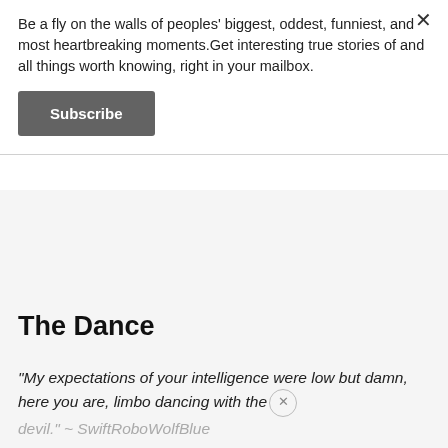Be a fly on the walls of peoples' biggest, oddest, funniest, and most heartbreaking moments.Get interesting true stories of and all things worth knowing, right in your mailbox.
Subscribe
The Dance
"My expectations of your intelligence were low but damn, here you are, limbo dancing with the devil." ~ SwiftRoboWolfBlue